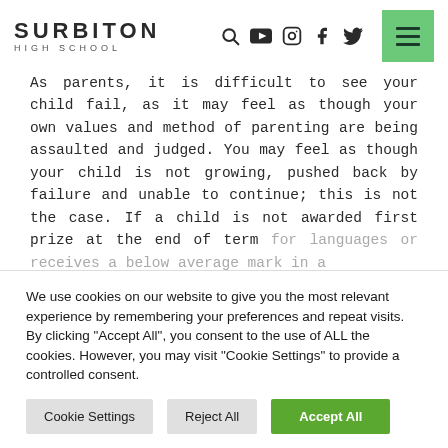SURBITON HIGH SCHOOL
As parents, it is difficult to see your child fail, as it may feel as though your own values and method of parenting are being assaulted and judged. You may feel as though your child is not growing, pushed back by failure and unable to continue; this is not the case. If a child is not awarded first prize at the end of term for languages or receives a below average mark in a
We use cookies on our website to give you the most relevant experience by remembering your preferences and repeat visits. By clicking "Accept All", you consent to the use of ALL the cookies. However, you may visit "Cookie Settings" to provide a controlled consent.